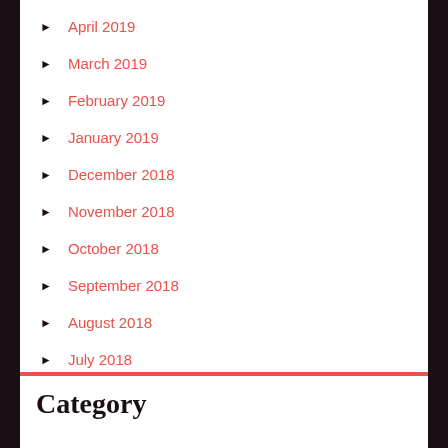April 2019
March 2019
February 2019
January 2019
December 2018
November 2018
October 2018
September 2018
August 2018
July 2018
June 2018
May 2018
Category